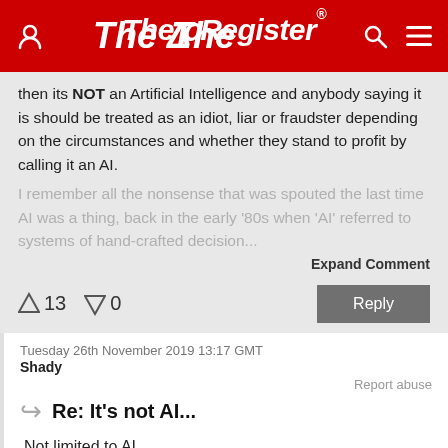The Register
then its NOT an Artificial Intelligence and anybody saying it is should be treated as an idiot, liar or fraudster depending on the circumstances and whether they stand to profit by calling it an AI.
I remember all the nonsense that was spouted the last time AI was a thing, back in the early '80s when 'AI' referred to systems of hand-crafted decision...
Expand Comment
↑13  ↓0
Reply
Tuesday 26th November 2019 13:17 GMT
Shady
Report abuse
Re: It's not AI...
Not limited to AI.
Wife: Should I wear black or blue leggings?